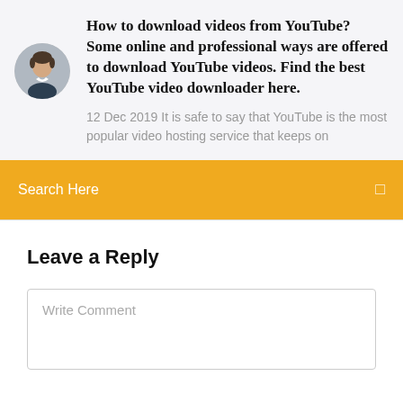How to download videos from YouTube? Some online and professional ways are offered to download YouTube videos. Find the best YouTube video downloader here.
12 Dec 2019 It is safe to say that YouTube is the most popular video hosting service that keeps on
Search Here
Leave a Reply
Write Comment